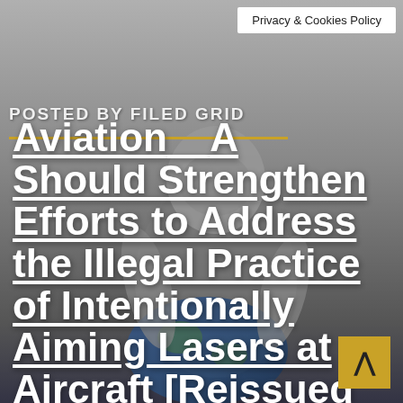Privacy & Cookies Policy
POSTED BY FILED GRID
Aviation Should Strengthen Efforts to Address the Illegal Practice of Intentionally Aiming Lasers at Aircraft [Reissued with revisions on Aug. 26, 2022]